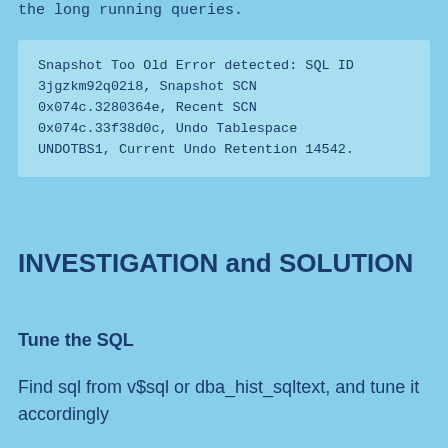the long running queries.
Snapshot Too Old Error detected: SQL ID 3jgzkm92q02i8, Snapshot SCN 0x074c.3280364e, Recent SCN 0x074c.33f38d0c, Undo Tablespace UNDOTBS1, Current Undo Retention 14542.
INVESTIGATION and SOLUTION
Tune the SQL
Find sql from v$sql or dba_hist_sqltext, and tune it accordingly